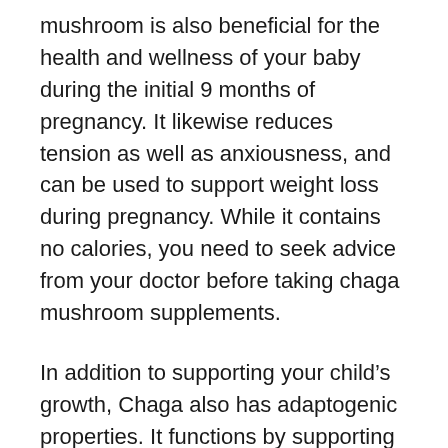mushroom is also beneficial for the health and wellness of your baby during the initial 9 months of pregnancy. It likewise reduces tension as well as anxiousness, and can be used to support weight loss during pregnancy. While it contains no calories, you need to seek advice from your doctor before taking chaga mushroom supplements.
In addition to supporting your child's growth, Chaga also has adaptogenic properties. It functions by supporting your adrenal glands as well as improving your body immune system. It can additionally help your body handle tension as well as lower abnormal blood sugar level heights. Chaga is likewise a natural blood thinner and also flaunts the highest possible antioxidant activity. It